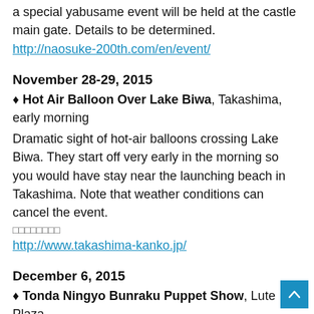To mark the 200th anniversary of Ii Naosuke's birth, a special yabusame event will be held at the castle main gate. Details to be determined.
http://naosuke-200th.com/en/event/
November 28-29, 2015
♦ Hot Air Balloon Over Lake Biwa, Takashima, early morning
Dramatic sight of hot-air balloons crossing Lake Biwa. They start off very early in the morning so you would have stay near the launching beach in Takashima. Note that weather conditions can cancel the event.
□□□□□□□□
http://www.takashima-kanko.jp/
December 6, 2015
♦ Tonda Ningyo Bunraku Puppet Show, Lute Plaza,